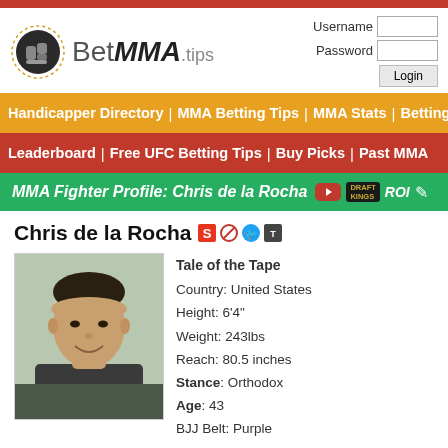BetMMA.tips — Username / Password / Login
Handicapper Directory | MMA Betting Tips | MMA Stats | Betting
Leaderboard | Free UFC Betting Tips | Buy Picks | Past MMA
MMA Fighter Profile: Chris de la Rocha
Chris de la Rocha
[Figure (photo): Headshot photo of Chris de la Rocha, a man with short dark hair, smiling]
Tale of the Tape
Country: United States
Height: 6'4"
Weight: 243lbs
Reach: 80.5 inches
Stance: Orthodox
Age: 43
BJJ Belt: Purple